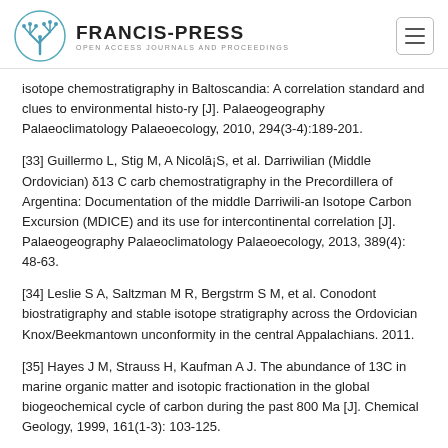FRANCIS-PRESS | OPEN ACCESS JOURNALS AND PROCEEDINGS
isotope chemostratigraphy in Baltoscandia: A correlation standard and clues to environmental histo-ry [J]. Palaeogeography Palaeoclimatology Palaeoecology, 2010, 294(3-4):189-201.
[33] Guillermo L, Stig M, A Nicolā¡S, et al. Darriwilian (Middle Ordovician) δ13 C carb chemostratigraphy in the Precordillera of Argentina: Documentation of the middle Darriwili-an Isotope Carbon Excursion (MDICE) and its use for intercontinental correlation [J]. Palaeogeography Palaeoclimatology Palaeoecology, 2013, 389(4): 48-63.
[34] Leslie S A, Saltzman M R, Bergstrm S M, et al. Conodont biostratigraphy and stable isotope stratigraphy across the Ordovician Knox/Beekmantown unconformity in the central Appalachians. 2011.
[35] Hayes J M, Strauss H, Kaufman A J. The abundance of 13C in marine organic matter and isotopic fractionation in the global biogeochemical cycle of carbon during the past 800 Ma [J]. Chemical Geology, 1999, 161(1-3): 103-125.
[36] Ludvigson G A, Witzke B J, LA González, et al. Late Ordovician (Turinian-Chatfieldian) carbon isotope excursions and their stratigraphic and...